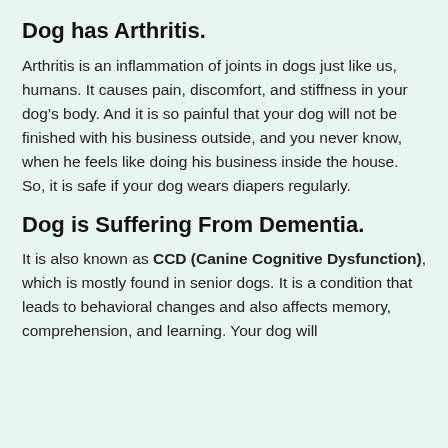Dog has Arthritis.
Arthritis is an inflammation of joints in dogs just like us, humans. It causes pain, discomfort, and stiffness in your dog’s body. And it is so painful that your dog will not be finished with his business outside, and you never know, when he feels like doing his business inside the house. So, it is safe if your dog wears diapers regularly.
Dog is Suffering From Dementia.
It is also known as CCD (Canine Cognitive Dysfunction), which is mostly found in senior dogs. It is a condition that leads to behavioral changes and also affects memory, comprehension, and learning. Your dog will